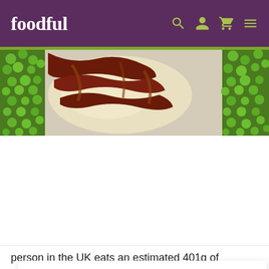foodful
[Figure (photo): Close-up photo of a sausage and mash dinner with peas and gravy on a white plate]
Notice
We and selected third parties use cookies or similar technologies for technical purposes and, with your consent, for other purposes as specified in the cookie policy. Denying consent may make related features unavailable. You can consent to the use of such technologies by closing this notice, by interacting with any link or button outside of this notice or by continuing to browse otherwise.
person in the UK eats an estimated 401g of